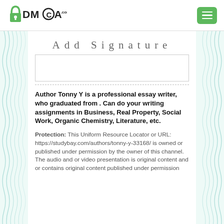[Figure (logo): DMCA.com logo with padlock icon and green menu button]
Add Signature
Author Tonny Y is a professional essay writer, who graduated from . Can do your writing assignments in Business, Real Property, Social Work, Organic Chemistry, Literature, etc.
Protection: This Uniform Resource Locator or URL: https://studybay.com/authors/tonny-y-33168/ is owned or published under permission by the owner of this channel. The audio and or video presentation is original content and or contains original content published under permission